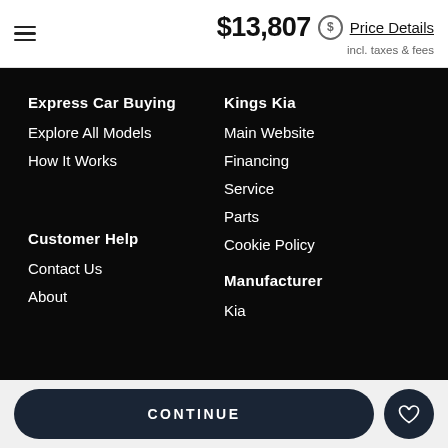$13,807 incl. taxes & fees  Price Details
Express Car Buying
Explore All Models
How It Works
Kings Kia
Main Website
Financing
Service
Parts
Cookie Policy
Customer Help
Contact Us
About
Manufacturer
Kia
CONTINUE